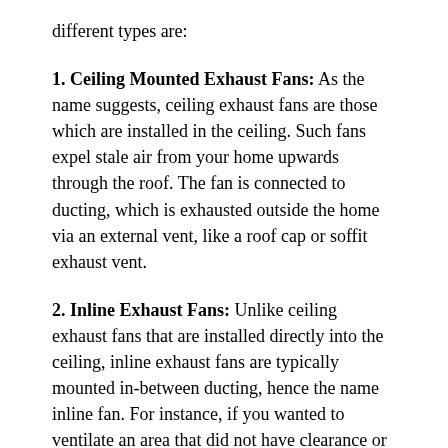different types are:
1. Ceiling Mounted Exhaust Fans: As the name suggests, ceiling exhaust fans are those which are installed in the ceiling. Such fans expel stale air from your home upwards through the roof. The fan is connected to ducting, which is exhausted outside the home via an external vent, like a roof cap or soffit exhaust vent.
2. Inline Exhaust Fans: Unlike ceiling exhaust fans that are installed directly into the ceiling, inline exhaust fans are typically mounted in-between ducting, hence the name inline fan. For instance, if you wanted to ventilate an area that did not have clearance or space for a ceiling mount fan, you would make use of inline exhaust fans to ventilate such areas. The exhaust fan would be placed in between the ductwork and the stale air would travel